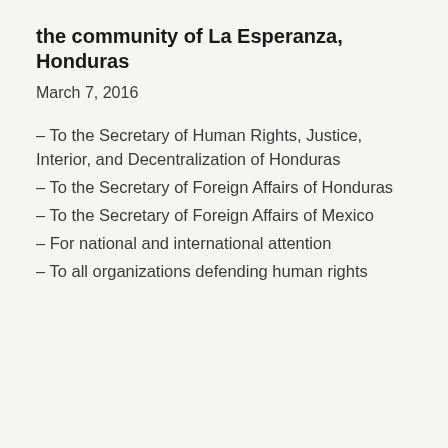the community of La Esperanza, Honduras
March 7, 2016
– To the Secretary of Human Rights, Justice, Interior, and Decentralization of Honduras
– To the Secretary of Foreign Affairs of Honduras
– To the Secretary of Foreign Affairs of Mexico
– For national and international attention
– To all organizations defending human rights